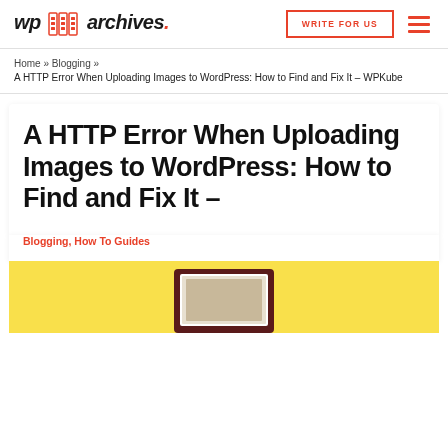wp archives. | WRITE FOR US | [menu]
Home » Blogging » A HTTP Error When Uploading Images to WordPress: How to Find and Fix It – WPKube
A HTTP Error When Uploading Images to WordPress: How to Find and Fix It –
Blogging, How To Guides
[Figure (illustration): Yellow background with a dark red monitor/computer illustration partially visible at the bottom]